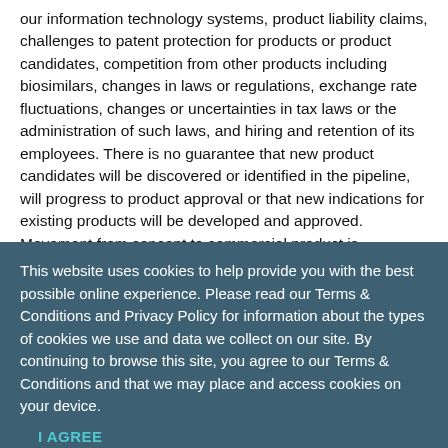our information technology systems, product liability claims, challenges to patent protection for products or product candidates, competition from other products including biosimilars, changes in laws or regulations, exchange rate fluctuations, changes or uncertainties in tax laws or the administration of such laws, and hiring and retention of its employees. There is no guarantee that new product candidates will be discovered or identified in the pipeline, will progress to product approval or that new indications for existing products will be developed and approved. Movement from concept to commercial product is uncertain; preclinical results do not guarantee
This website uses cookies to help provide you with the best possible online experience. Please read our Terms & Conditions and Privacy Policy for information about the types of cookies we use and data we collect on our site. By continuing to browse this site, you agree to our Terms & Conditions and that we may place and access cookies on your device.
I AGREE
partners or may prove to be not as safe, effective or